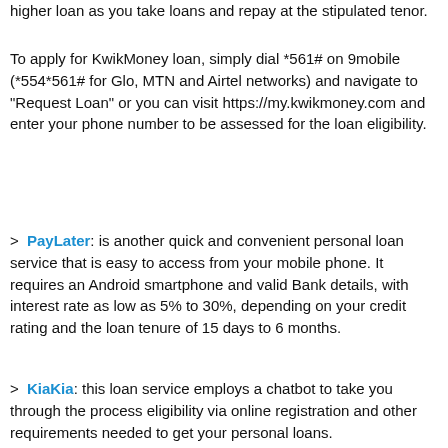higher loan as you take loans and repay at the stipulated tenor.
To apply for KwikMoney loan, simply dial *561# on 9mobile (*554*561# for Glo, MTN and Airtel networks) and navigate to "Request Loan" or you can visit https://my.kwikmoney.com and enter your phone number to be assessed for the loan eligibility.
PayLater: is another quick and convenient personal loan service that is easy to access from your mobile phone. It requires an Android smartphone and valid Bank details, with interest rate as low as 5% to 30%, depending on your credit rating and the loan tenure of 15 days to 6 months.
KiaKia: this loan service employs a chatbot to take you through the process eligibility via online registration and other requirements needed to get your personal loans.